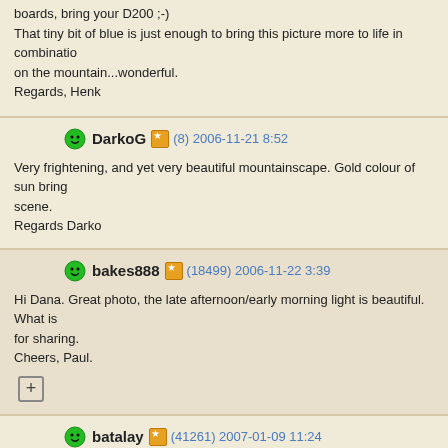boards, bring your D200 ;-)
That tiny bit of blue is just enough to bring this picture more to life in combination on the mountain...wonderful.
Regards, Henk
DarkoG (8) 2006-11-21 8:52
Very frightening, and yet very beautiful mountainscape. Gold colour of sun bring scene.
Regards Darko
bakes888 (18499) 2006-11-22 3:39
Hi Dana. Great photo, the late afternoon/early morning light is beautiful. What is for sharing.
Cheers, Paul.
+
batalay (41261) 2007-01-09 11:24
Hello Dana,
This photo makes a good case for the claim on your licencse plate. Excellent co exposure -- as usual.